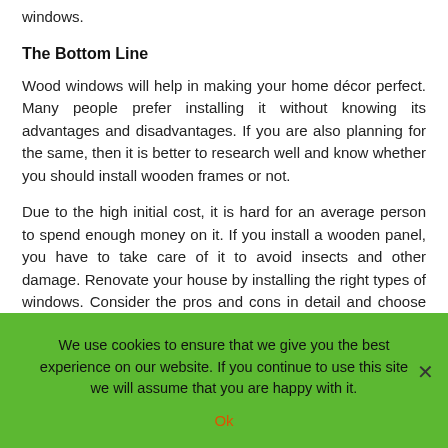windows.
The Bottom Line
Wood windows will help in making your home décor perfect. Many people prefer installing it without knowing its advantages and disadvantages. If you are also planning for the same, then it is better to research well and know whether you should install wooden frames or not.
Due to the high initial cost, it is hard for an average person to spend enough money on it. If you install a wooden panel, you have to take care of it to avoid insects and other damage. Renovate your house by installing the right types of windows. Consider the pros and cons in detail and choose what is right for your house.
We use cookies to ensure that we give you the best experience on our website. If you continue to use this site we will assume that you are happy with it.
Ok